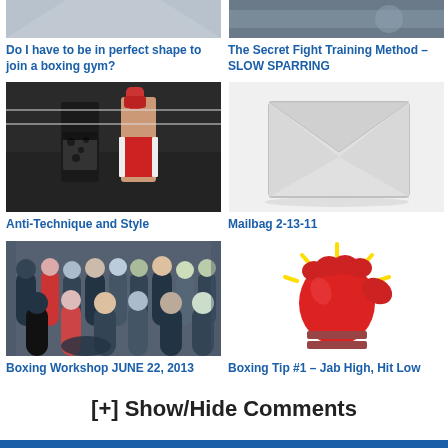[Figure (photo): Partial top of image - boxing related (cropped), left column]
[Figure (photo): Partial top of image - boxing/fighting related (cropped), right column]
Do I have to be in perfect shape to join a boxing gym?
The Secret Fight Training Method – SLOW SPARRING
[Figure (photo): Two boxers in a ring, one celebrating, adidas shorts visible]
[Figure (illustration): Envelope / mailbag illustration]
Anti-Technique and Style
Mailbag 2-13-11
[Figure (photo): Group of people at boxing workshop in a gym]
[Figure (illustration): Red boxing glove shaped like a lightbulb with yellow light rays]
Boxing Workshop JUNE 22, 2013
Boxing Tip #1 – Jab High, Hit Low
[+] Show/Hide Comments